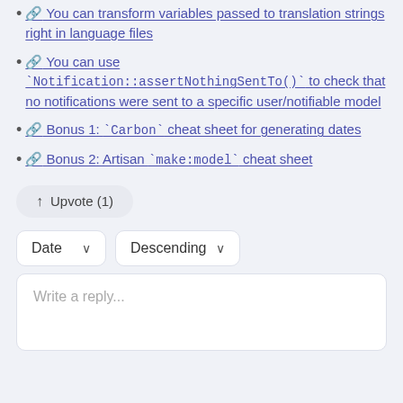🔗 You can transform variables passed to translation strings right in language files
🔗 You can use `Notification::assertNothingSentTo()` to check that no notifications were sent to a specific user/notifiable model
🔗 Bonus 1: `Carbon` cheat sheet for generating dates
🔗 Bonus 2: Artisan `make:model` cheat sheet
↑ Upvote (1)
Date ∨  Descending ∨
Write a reply...